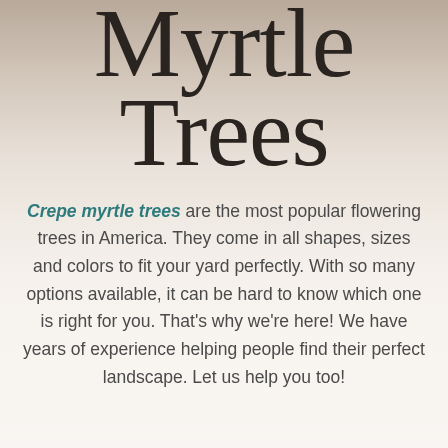Myrtle Trees
Crepe myrtle trees are the most popular flowering trees in America. They come in all shapes, sizes and colors to fit your yard perfectly. With so many options available, it can be hard to know which one is right for you. That’s why we’re here! We have years of experience helping people find their perfect landscape. Let us help you too!